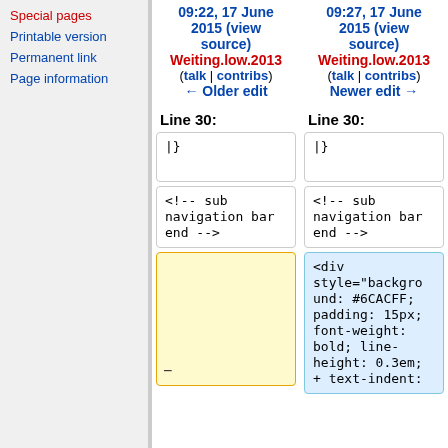Special pages
Printable version
Permanent link
Page information
09:22, 17 June 2015 (view source)  Weiting.low.2013 (talk | contribs) ← Older edit
09:27, 17 June 2015 (view source)  Weiting.low.2013 (talk | contribs) Newer edit →
Line 30:   Line 30:
|}
|}
<!-- sub navigation bar end -->
<!-- sub navigation bar end -->
<div style="background: #6CACFF; padding: 15px; font-weight: bold; line-height: 0.3em; text-indent: